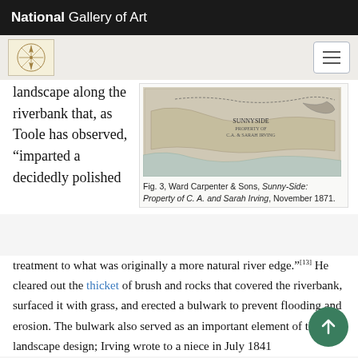National Gallery of Art
landscape along the riverbank that, as Toole has observed, “imparted a decidedly polished treatment to what was originally a more natural river edge.”[13] He cleared out the thicket of brush and rocks that covered the riverbank, surfaced it with grass, and erected a bulwark to prevent flooding and erosion. The bulwark also served as an important element of the landscape design; Irving wrote to a niece in July 1841
[Figure (map): Historical survey map showing Sunnyside property along riverbank, Ward Carpenter & Sons, 1871]
Fig. 3, Ward Carpenter & Sons, Sunny-Side: Property of C. A. and Sarah Irving, November 1871.